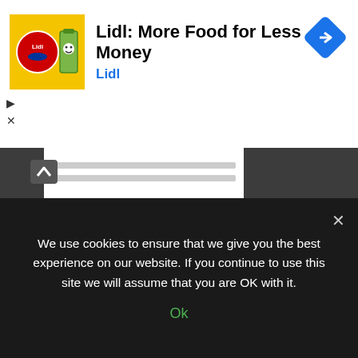[Figure (advertisement): Lidl grocery store ad banner: 'Lidl: More Food for Less Money' with Lidl logo, battery icon, and navigation diamond icon]
[Figure (advertisement): Only Natural Pet free shipping advertisement: 'FREE SHIPPING - All Orders $79 and Over' with truck graphic. '$8.99 Flat Rate on All Other Orders']
Tags
We use cookies to ensure that we give you the best experience on our website. If you continue to use this site we will assume that you are OK with it.
Ok